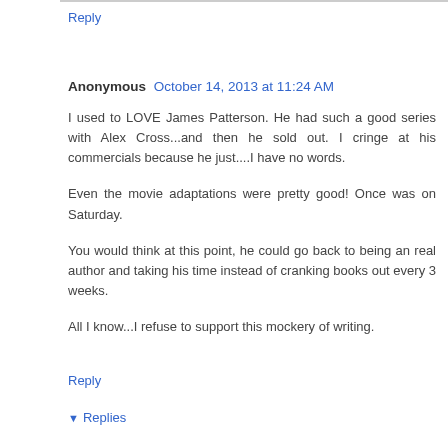Reply
Anonymous  October 14, 2013 at 11:24 AM
I used to LOVE James Patterson. He had such a good series with Alex Cross...and then he sold out. I cringe at his commercials because he just....I have no words.

Even the movie adaptations were pretty good! Once was on Saturday.

You would think at this point, he could go back to being an real author and taking his time instead of cranking books out every 3 weeks.

All I know...I refuse to support this mockery of writing.
Reply
▼ Replies